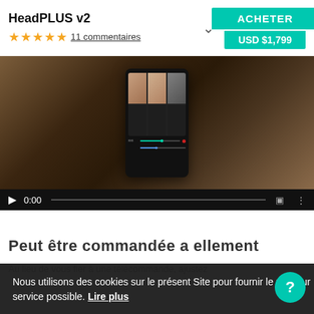HeadPLUS v2
★★★★★ 11 commentaires
ACHETER
USD $1,799
[Figure (screenshot): Video player showing a hand holding a smartphone with a video editing app. The app displays multiple camera angles of a person's face. Below the video thumbnail is a playback controls bar showing time 0:00, a progress bar, fullscreen and more-options icons.]
Peut être commandée a ellement
Au lieu de vous fier à une télécommande, ajustez
Nous utilisons des cookies sur le présent Site pour fournir le meilleur service possible. Lire plus
×